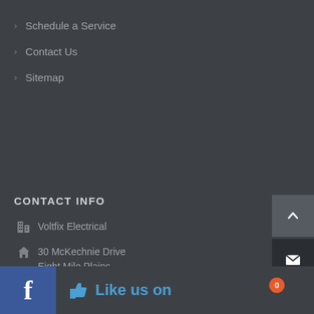Schedule a Service
Contact Us
Sitemap
CONTACT INFO
Voltfix Electrical
30 McKechnie Drive
Eight Mile Plains
Brisbane QLD 4113
1300 500 832
admin@voltfixelectrical.com.au
7am-5pm Mon-Fri
Like us on Facebook